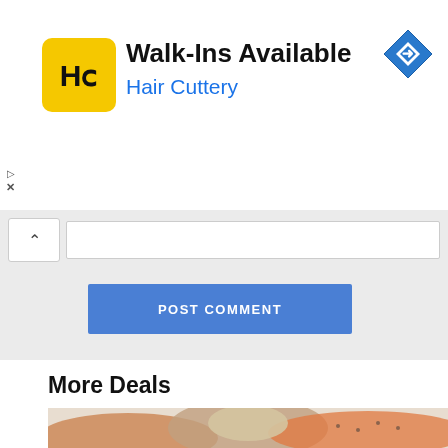[Figure (infographic): Hair Cuttery advertisement banner with logo, 'Walk-Ins Available' text, navigation diamond icon, and ad controls]
[Figure (screenshot): Comment form area with collapse arrow button, text input field]
[Figure (screenshot): POST COMMENT button in blue]
More Deals
[Figure (photo): Seafood platter with shrimp, crab legs, and oysters on ice]